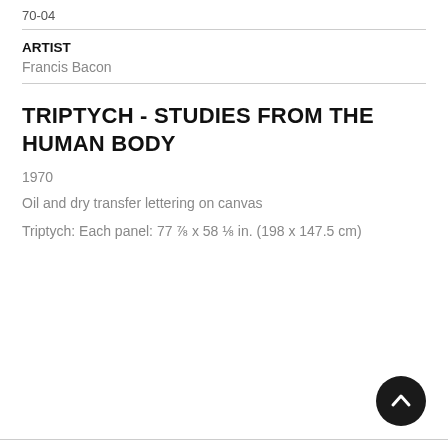70-04
ARTIST
Francis Bacon
TRIPTYCH - STUDIES FROM THE HUMAN BODY
1970
Oil and dry transfer lettering on canvas
Triptych: Each panel: 77 ⅞ x 58 ⅛ in. (198 x 147.5 cm)